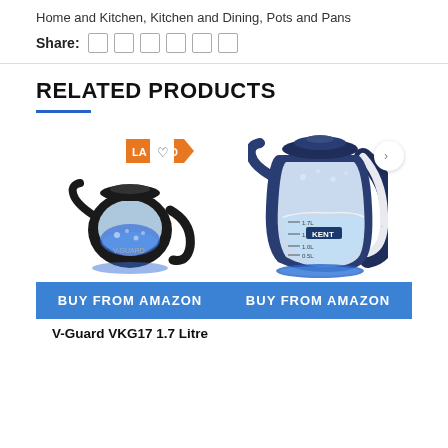Home and Kitchen, Kitchen and Dining, Pots and Pans
Share:
RELATED PRODUCTS
[Figure (photo): V-Guard VKG17 1.7 Litre electric glass kettle with blue LED illumination and black handle, with a 'LAST' badge overlay and a heart/wishlist button]
BUY FROM AMAZON
V-Guard VKG17 1.7 Litre
[Figure (photo): KENT electric glass kettle with dark navy blue handle and lid, blue LED base ring, water visible inside with measurement markings, with a navigation arrow button]
BUY FROM AMAZON